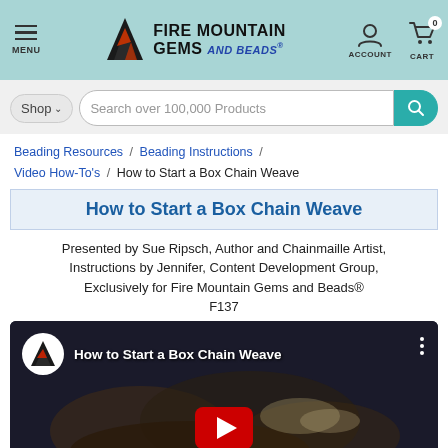MENU | FIRE MOUNTAIN GEMS and Beads® | ACCOUNT | CART 0
Shop ∨  Search over 100,000 Products
Beading Resources / Beading Instructions / Video How-To's / How to Start a Box Chain Weave
How to Start a Box Chain Weave
Presented by Sue Ripsch, Author and Chainmaille Artist, Instructions by Jennifer, Content Development Group, Exclusively for Fire Mountain Gems and Beads® F137
[Figure (screenshot): YouTube video thumbnail showing 'How to Start a Box Chain Weave' with Fire Mountain Gems logo, channel name, and a red YouTube play button over a dark image of hands with chainmaille bracelet.]